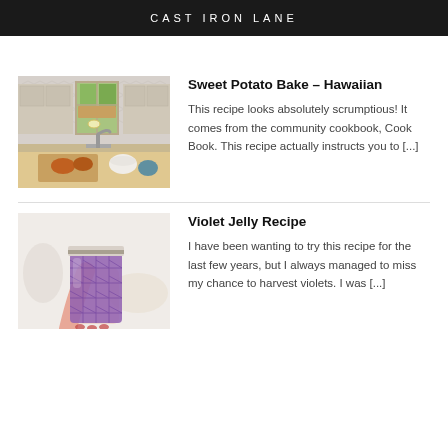CAST IRON LANE
[Figure (photo): Kitchen interior with window, backsplash tiles, and food on counter]
Sweet Potato Bake – Hawaiian
This recipe looks absolutely scrumptious! It comes from the community cookbook, Cook Book. This recipe actually instructs you to [...]
[Figure (photo): Hand holding a purple/violet jelly in a diamond-cut mason jar]
Violet Jelly Recipe
I have been wanting to try this recipe for the last few years, but I always managed to miss my chance to harvest violets. I was [...]